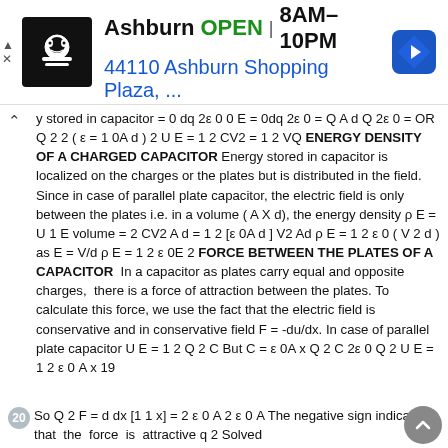[Figure (screenshot): Advertisement banner for a restaurant in Ashburn showing logo, OPEN status, hours 8AM-10PM, address 44110 Ashburn Shopping Plaza, and navigation icon]
y stored in capacitor = 0 dq 2ε 0 0 E = 0dq 2ε 0 = Q A d Q 2ε 0 = OR Q 2 2 ( ε = 1 0A d ) 2 U E = 1 2 CV2 = 1 2 VQ ENERGY DENSITY OF A CHARGED CAPACITOR Energy stored in capacitor is localized on the charges or the plates but is distributed in the field. Since in case of parallel plate capacitor, the electric field is only between the plates i.e. in a volume ( A X d), the energy density ρ E = U 1 E volume = 2 CV2 A d = 1 2 [ε 0A d ] V2 Ad ρ E = 1 2 ε 0 ( V 2 d ) as E = V/d ρ E = 1 2 ε 0E 2 FORCE BETWEEN THE PLATES OF A CAPACITOR  In a capacitor as plates carry equal and opposite charges,  there is a force of attraction between the plates. To calculate this force, we use the fact that the electric field is conservative and in conservative field F = -du/dx. In case of parallel plate capacitor U E = 1 2 Q 2 C But C = ε 0A x Q 2 C 2ε 0 Q 2 U E = 1 2 ε 0 A x 19
20 So Q 2 F = d dx [1 1 x] = 2 ε 0 A 2 ε 0 A The negative sign indicates that the force is attractive q 2 Solved